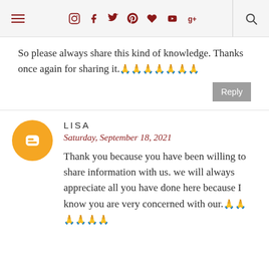Navigation header with hamburger menu, social icons (instagram, facebook, twitter, pinterest, heart, youtube, google+), and search icon
So please always share this kind of knowledge. Thanks once again for sharing it.🙏🙏🙏🙏🙏🙏🙏
Reply
LISA
Saturday, September 18, 2021
Thank you because you have been willing to share information with us. we will always appreciate all you have done here because I know you are very concerned with our.🙏🙏🙏🙏🙏🙏